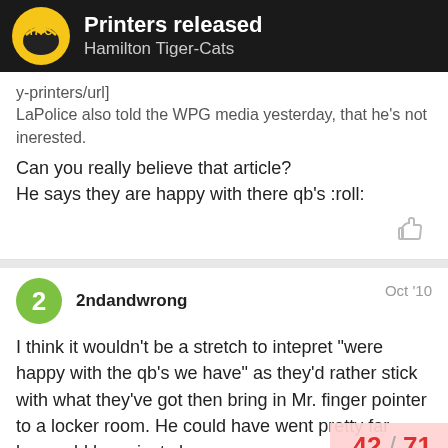Printers released – Hamilton Tiger-Cats
y-printers/url]
LaPolice also told the WPG media yesterday, that he's not inerested.
Can you really believe that article?
He says they are happy with there qb's :roll:
2ndandwrong  Oct '10
I think it wouldn't be a stretch to intepret "were happy with the qb's we have" as they'd rather stick with what they've got then bring in Mr. finger pointer to a locker room. He could have went pretty fa... he would have just shown some sen...